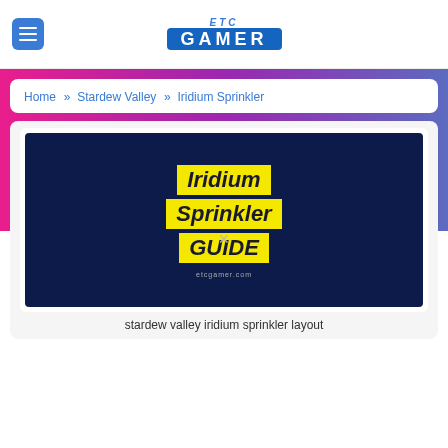ETC GAMER
Home » Stardew Valley » Iridium Sprinkler
[Figure (illustration): Dark navy blue banner image with bold italic yellow-highlighted text reading 'Iridium Sprinkler GUIDE' and small text 'etcgamer.com' below, used as a guide cover image.]
stardew valley iridium sprinkler layout